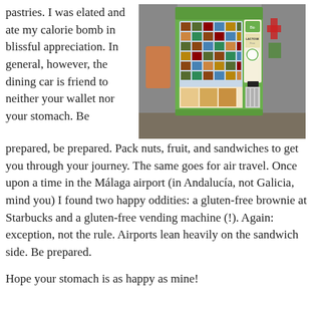pastries. I was elated and ate my calorie bomb in blissful appreciation. In general, however, the dining car is friend to neither your wallet nor your stomach. Be prepared, be prepared. Pack nuts, fruit, and sandwiches to get you through your journey. The same goes for air travel. Once upon a time in the Málaga airport (in Andalucía, not Galicia, mind you) I found two happy oddities: a gluten-free brownie at Starbucks and a gluten-free vending machine (!). Again: exception, not the rule. Airports lean heavily on the sandwich side. Be prepared.
[Figure (photo): A green gluten-free vending machine in what appears to be an airport, stocked with various food products. The machine has 'Bio', 'LACTOSE Free' labels visible on its side panel.]
Hope your stomach is as happy as mine!